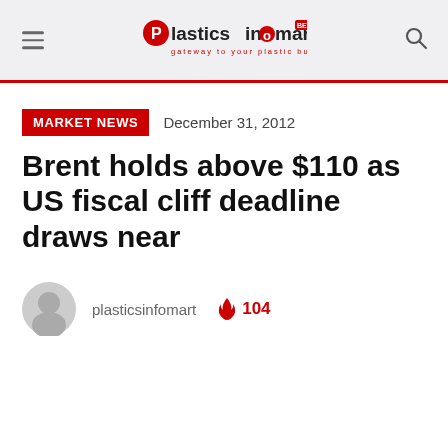Plastics Infomart — gateway to your plastic business
MARKET NEWS
December 31, 2012
Brent holds above $110 as US fiscal cliff deadline draws near
plasticsinfomart  🔥 104